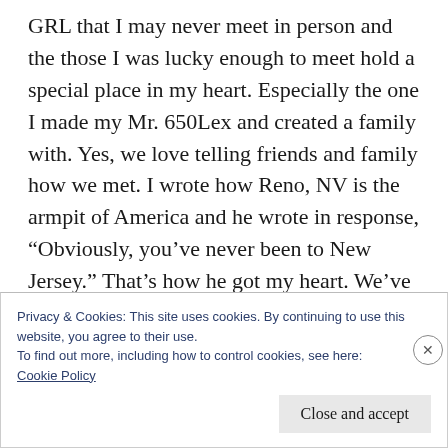GRL that I may never meet in person and the those I was lucky enough to meet hold a special place in my heart. Especially the one I made my Mr. 650Lex and created a family with. Yes, we love telling friends and family how we met. I wrote how Reno, NV is the armpit of America and he wrote in response, “Obviously, you’ve never been to New Jersey.” That’s how he got my heart. We’ve known each other almost 10 years, married for 6 of them. Thanks GRL… I think
Privacy & Cookies: This site uses cookies. By continuing to use this website, you agree to their use.
To find out more, including how to control cookies, see here:
Cookie Policy
Close and accept